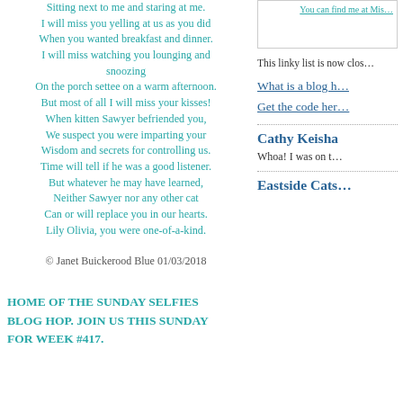Sitting next to me and staring at me.
I will miss you yelling at us as you did
When you wanted breakfast and dinner.
I will miss watching you lounging and snoozing
On the porch settee on a warm afternoon.
But most of all I will miss your kisses!
When kitten Sawyer befriended you,
We suspect you were imparting your
Wisdom and secrets for controlling us.
Time will tell if he was a good listener.
But whatever he may have learned,
Neither Sawyer nor any other cat
Can or will replace you in our hearts.
Lily Olivia, you were one-of-a-kind.
© Janet Buickerood Blue 01/03/2018
Home of the Sunday Selfies Blog Hop. Join us this Sunday for week #417.
This linky list is now clos…
What is a blog h…
Get the code her…
Cathy Keisha
Whoa! I was on t…
Eastside Cats…